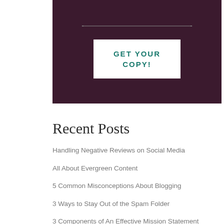[Figure (illustration): Dark maroon/purple banner with dotted line at top and a white button reading GET YOUR COPY!]
Recent Posts
Handling Negative Reviews on Social Media
All About Evergreen Content
5 Common Misconceptions About Blogging
3 Ways to Stay Out of the Spam Folder
3 Components of An Effective Mission Statement
Categories
Book Recommendations
Business Planning